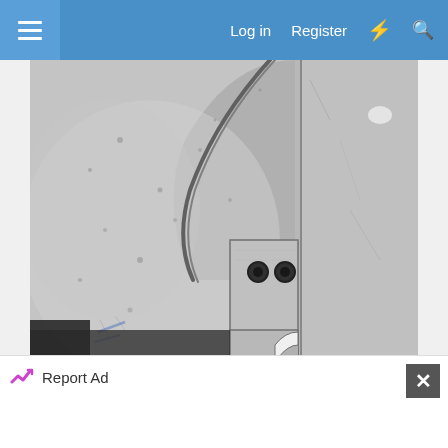Log in  Register
[Figure (photo): Close-up photo of metal automotive parts — a large curved fender panel on the left and a vertical metal bracket/tab with two bolt holes on the right, both bare unpainted metal with surface scratches and patina]
Report Ad